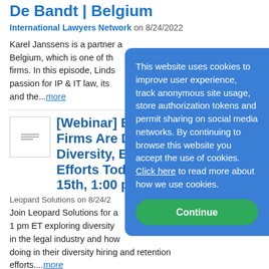De Bandt | Belgium
International Lawyers Network on 8/24/2022
Karel Janssens is a partner at De Bandt, Belgium, which is one of the firms. In this episode, Lindsay discusses passion for IP & IT law, its and the...more
[Webinar] Exploring What Law Firms Are Doing to Advance Their Diversity, Equity & Inclusion Efforts Today - September 15th, 1:00 pm ET
Leopard Solutions on 8/24/2022
Join Leopard Solutions for a webinar at 1 pm ET exploring diversity in the legal industry and how firms are doing in their diversity hiring and retention efforts....more
This website uses cookies to improve user experience, track anonymous site usage, store authorization tokens and permit sharing on social media networks. By continuing to browse this website you accept the use of cookies. Click here to read more about how we use cookies.